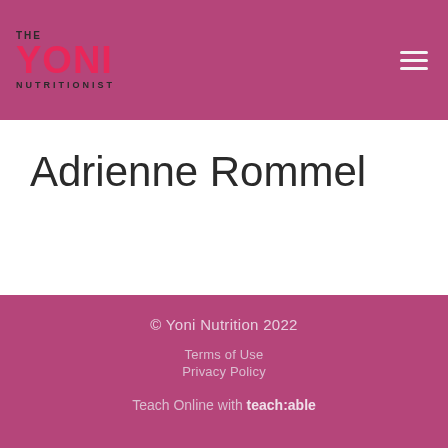THE YONI NUTRITIONIST
Adrienne Rommel
© Yoni Nutrition 2022
Terms of Use
Privacy Policy
Teach Online with teach:able